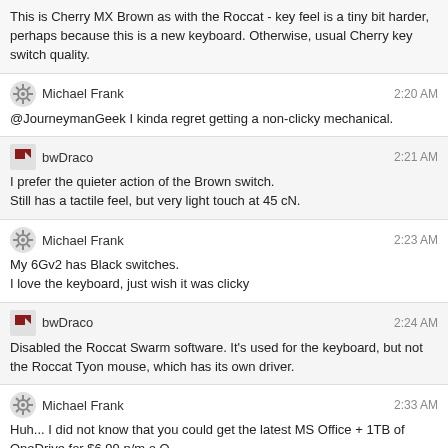This is Cherry MX Brown as with the Roccat - key feel is a tiny bit harder, perhaps because this is a new keyboard. Otherwise, usual Cherry key switch quality.
Michael Frank  2:20 AM
@JourneymanGeek I kinda regret getting a non-clicky mechanical.
bwDraco  2:21 AM
I prefer the quieter action of the Brown switch.
Still has a tactile feel, but very light touch at 45 cN.
Michael Frank  2:23 AM
My 6Gv2 has Black switches.
I love the keyboard, just wish it was clicky
bwDraco  2:24 AM
Disabled the Roccat Swarm software. It's used for the keyboard, but not the Roccat Tyon mouse, which has its own driver.
Michael Frank  2:33 AM
Huh... I did not know that you could get the latest MS Office + 1TB of OneDrive for $6.99 p/m o.O
That's a hell of a lot cheaper than $14.99 p/m for 1TB of Google Drive.
Bob  2:55 AM
@bwDraco hm?
@MichaelFrank that the personal one?
I get home for about the same (buying 1yr from officeworks usually). 5 installs